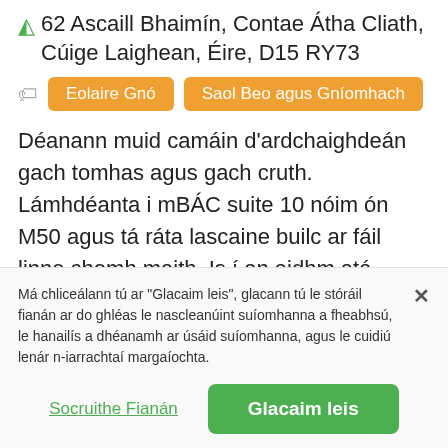62 Ascaill Bhaimín, Contae Átha Cliath, Cúige Laighean, Éire, D15 RY73
Eolaire Gnó
Saol Beo agus Gníomhach
Déanann muid camáin d'ardchaighdeán gach tomhas agus gach cruth. Lámhdéanta i mBÁC suite 10 nóim ón M50 agus tá ráta lascaine builc ar fáil linne chomh maith. Is í an aidhm atá again ná freastal ar pháistí agus iad ag ceannacht a gcéad chamán agus ar dhaoine fásta a imríonn ag leibhéil níos airde i
Má chliceálann tú ar "Glacaim leis", glacann tú le stóráil fianán ar do ghléas le nascleanúint suíomhanna a fheabhsú, le hanailís a dhéanamh ar úsáid suíomhanna, agus le cuidiú lenár n-iarrachtaí margaíochta.
Socruithe Fianán
Glacaim leis